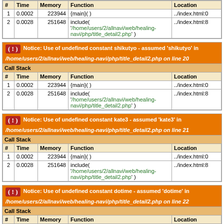| # | Time | Memory | Function | Location |
| --- | --- | --- | --- | --- |
| 1 | 0.0002 | 223944 | {main}( ) | ../index.html:0 |
| 2 | 0.0028 | 251648 | include( '/home/users/2/allnavi/web/healing-navi/php/title_detail2.php' ) | ../index.html:8 |
Notice: Use of undefined constant shikutyo - assumed 'shikutyo' in /home/users/2/allnavi/web/healing-navi/php/title_detail2.php on line 20
| # | Time | Memory | Function | Location |
| --- | --- | --- | --- | --- |
| 1 | 0.0002 | 223944 | {main}( ) | ../index.html:0 |
| 2 | 0.0028 | 251648 | include( '/home/users/2/allnavi/web/healing-navi/php/title_detail2.php' ) | ../index.html:8 |
Notice: Use of undefined constant kate3 - assumed 'kate3' in /home/users/2/allnavi/web/healing-navi/php/title_detail2.php on line 21
| # | Time | Memory | Function | Location |
| --- | --- | --- | --- | --- |
| 1 | 0.0002 | 223944 | {main}( ) | ../index.html:0 |
| 2 | 0.0028 | 251648 | include( '/home/users/2/allnavi/web/healing-navi/php/title_detail2.php' ) | ../index.html:8 |
Notice: Use of undefined constant dotime - assumed 'dotime' in /home/users/2/allnavi/web/healing-navi/php/title_detail2.php on line 22
| # | Time | Memory | Function | Location |
| --- | --- | --- | --- | --- |
| 1 | 0.0002 | 223944 | {main}( ) | ../index.html:0 |
| 2 | 0.0028 | 251648 | include( '/home/users/2/allnavi/web/healing-navi/php/title_detail2.php' ) | ../index.html:8 |